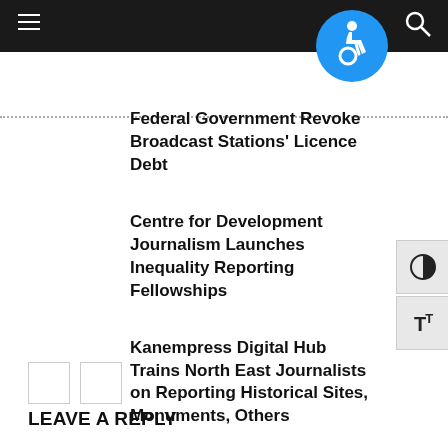Navigation bar with hamburger menu and search icon
Federal Government Revoke Broadcast Stations' Licence Debt
Centre for Development Journalism Launches Inequality Reporting Fellowships
Kanempress Digital Hub Trains North East Journalists on Reporting Historical Sites, Monuments, Others
LEAVE A REPLY